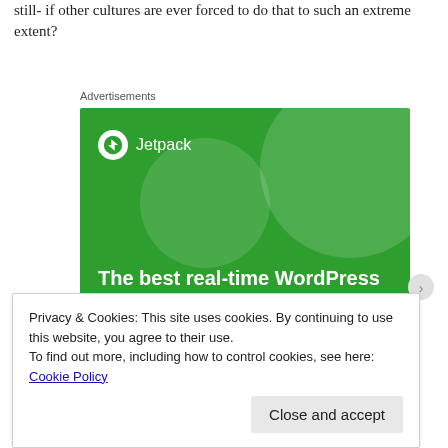still- if other cultures are ever forced to do that to such an extreme extent?
[Figure (screenshot): Jetpack advertisement banner with green background showing 'The best real-time WordPress backup plugin' text with Jetpack logo]
Advertisements
Privacy & Cookies: This site uses cookies. By continuing to use this website, you agree to their use.
To find out more, including how to control cookies, see here: Cookie Policy
Close and accept